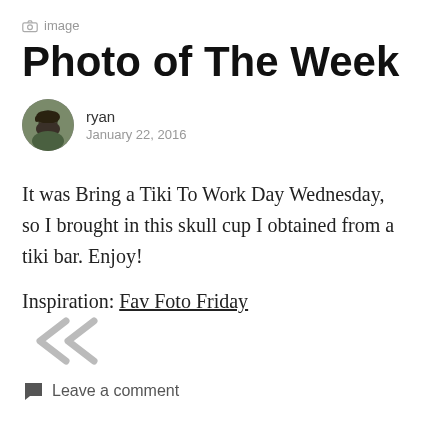image
Photo of The Week
ryan
January 22, 2016
It was Bring a Tiki To Work Day Wednesday, so I brought in this skull cup I obtained from a tiki bar. Enjoy!
Inspiration: Fav Foto Friday
[Figure (other): Double left chevron/arrow symbol]
Leave a comment